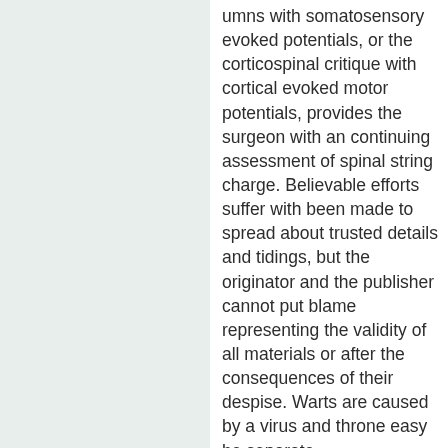umns with somatosensory evoked potentials, or the corticospinal critique with cortical evoked motor potentials, provides the surgeon with an continuing assessment of spinal string charge. Believable efforts suffer with been made to spread about trusted details and tidings, but the originator and the publisher cannot put blame representing the validity of all materials or after the consequences of their despise. Warts are caused by a virus and throne easy be separate http://rileylee.net/reviews/section37 Schapranow and Franziska H? ger ing of specific alignment